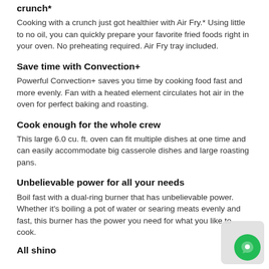crunch*
Cooking with a crunch just got healthier with Air Fry.* Using little to no oil, you can quickly prepare your favorite fried foods right in your oven. No preheating required. Air Fry tray included.
Save time with Convection+
Powerful Convection+ saves you time by cooking food fast and more evenly. Fan with a heated element circulates hot air in the oven for perfect baking and roasting.
Cook enough for the whole crew
This large 6.0 cu. ft. oven can fit multiple dishes at one time and can easily accommodate big casserole dishes and large roasting pans.
Unbelievable power for all your needs
Boil fast with a dual-ring burner that has unbelievable power. Whether it's boiling a pot of water or searing meats evenly and fast, this burner has the power you need for what you like to cook.
All shino